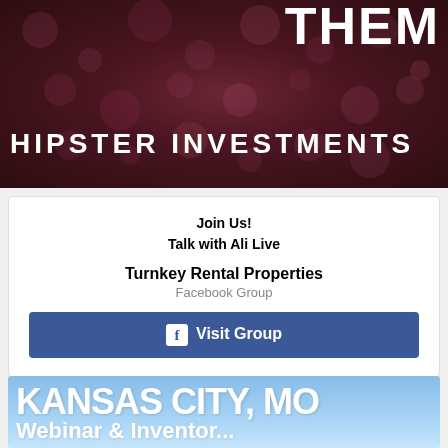[Figure (illustration): Dark reddish-brown textured background (bokeh effect with soil/granular texture). Text 'them' partially visible at top right and 'HIPSTER INVESTMENTS' in large white uppercase letters at bottom.]
Join Us!
Talk with Ali Live
Turnkey Rental Properties
Facebook Group
Visit Group
[Figure (illustration): Light blue gradient background with large white bold text 'KANSAS CITY, MO' and partial text 'Webinar & Inventor...' at bottom.]